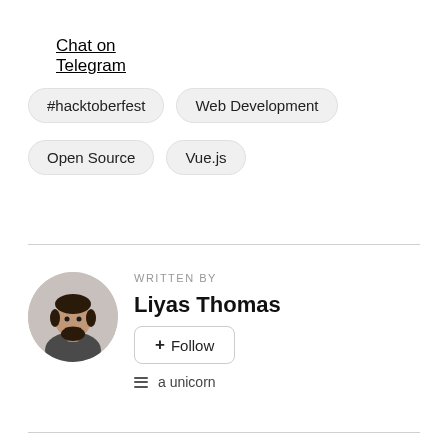Chat on Telegram
#hacktoberfest
Web Development
Open Source
Vue.js
WRITTEN BY
Liyas Thomas
+ Follow
a unicorn